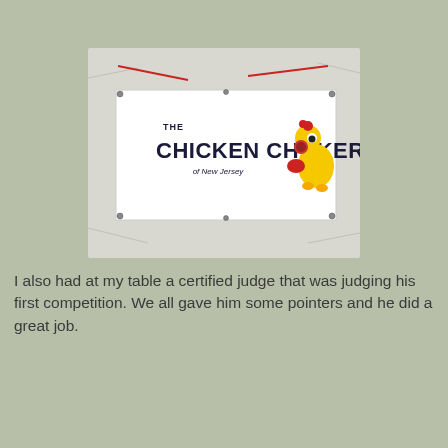[Figure (photo): A white banner hung on a white tarp background reading 'THE CHICKEN CHOKERS of New Jersey' in bold dark blue/black text, with a cartoon rubber chicken toy on the right side of the banner.]
I also had at my table a certified judge that was judging his first competition. We all gave him some pointers and he did a great job.